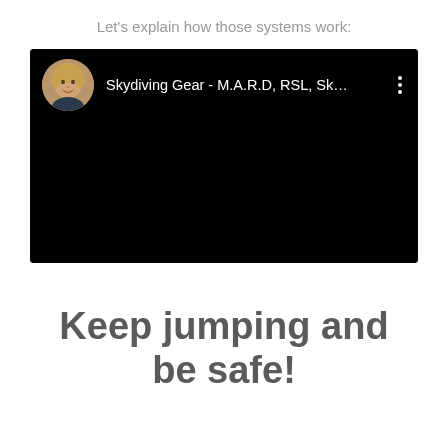Let's explain how those systems work:
[Figure (screenshot): Embedded video thumbnail with a circular avatar of a woman on the left, title text 'Skydiving Gear - M.A.R.D, RSL, Sk...' in white on black background, and a three-dot menu icon on the right. The main video area is black.]
Keep jumping and be safe!